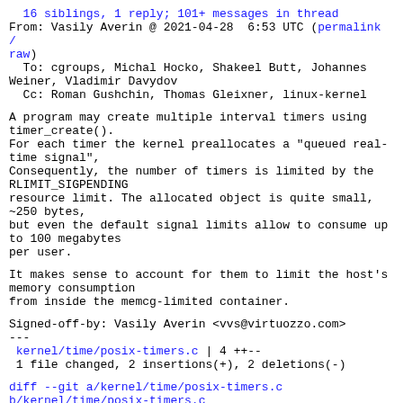16 siblings, 1 reply; 101+ messages in thread
From: Vasily Averin @ 2021-04-28  6:53 UTC (permalink / raw)
  To: cgroups, Michal Hocko, Shakeel Butt, Johannes Weiner, Vladimir Davydov
  Cc: Roman Gushchin, Thomas Gleixner, linux-kernel
A program may create multiple interval timers using timer_create().
For each timer the kernel preallocates a "queued real-time signal",
Consequently, the number of timers is limited by the RLIMIT_SIGPENDING
resource limit. The allocated object is quite small, ~250 bytes,
but even the default signal limits allow to consume up to 100 megabytes
per user.
It makes sense to account for them to limit the host's memory consumption
from inside the memcg-limited container.
Signed-off-by: Vasily Averin <vvs@virtuozzo.com>
---
 kernel/time/posix-timers.c | 4 ++--
 1 file changed, 2 insertions(+), 2 deletions(-)
diff --git a/kernel/time/posix-timers.c
b/kernel/time/posix-timers.c